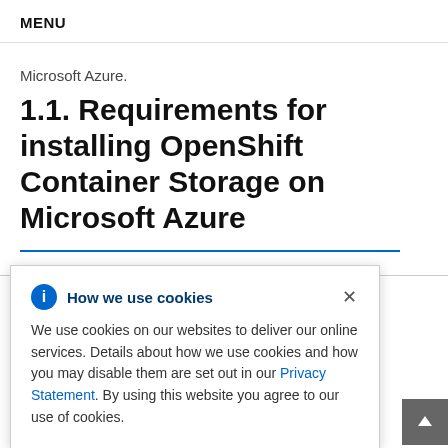MENU
Microsoft Azure.
1.1. Requirements for installing OpenShift Container Storage on Microsoft Azure
How we use cookies

We use cookies on our websites to deliver our online services. Details about how we use cookies and how you may disable them are set out in our Privacy Statement. By using this website you agree to our use of cookies.
Memory: 64 GiB memory